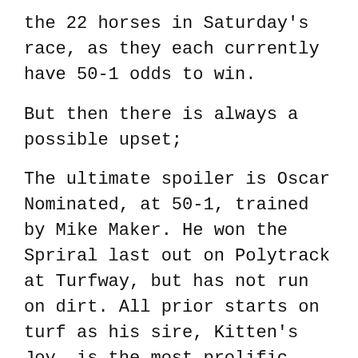the 22 horses in Saturday's race, as they each currently have 50-1 odds to win.
But then there is always a possible upset;
The ultimate spoiler is Oscar Nominated, at 50-1, trained by Mike Maker. He won the Spriral last out on Polytrack at Turfway, but has not run on dirt. All prior starts on turf as his sire, Kitten's Joy, is the most prolific U.S. turf sire presently. Turf form translates to Polytrack often as it did for him in the Spiral. Should he win, the winner's circle presentation with the Ramseys will be classic. A Kentucky family that loves their racing at every level. While Mr. Ramsey's dream is to win a race at Royal Ascot and collect a trophy from the Queen, we here in Kentucky love it win he wins a